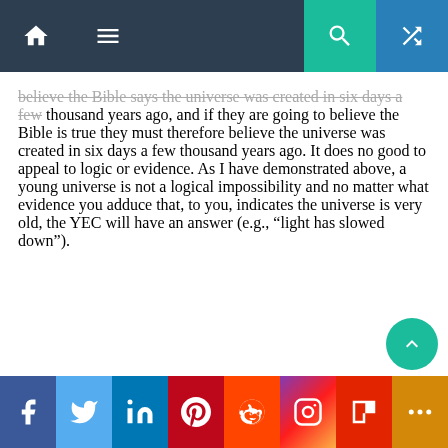Navigation bar with home, menu, search, and shuffle icons
believe the Bible says the universe was created in six days a few thousand years ago, and if they are going to believe the Bible is true they must therefore believe the universe was created in six days a few thousand years ago.  It does no good to appeal to logic or evidence.  As I have demonstrated above, a young universe is not a logical impossibility and no matter what evidence you adduce that, to you, indicates the universe is very old, the YEC will have an answer (e.g., “light has slowed down”).
Social share bar: Facebook, Twitter, LinkedIn, Pinterest, Reddit, Instagram, Flipboard, More